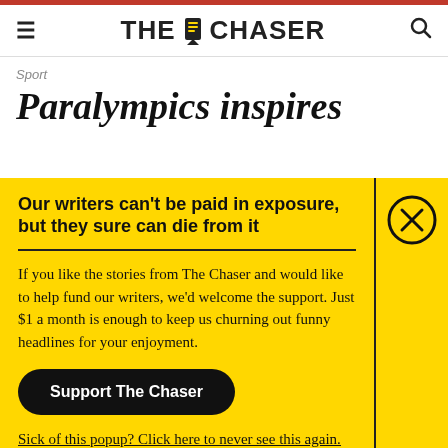THE CHASER
Sport
Paralympics inspires
Our writers can't be paid in exposure, but they sure can die from it
If you like the stories from The Chaser and would like to help fund our writers, we'd welcome the support. Just $1 a month is enough to keep us churning out funny headlines for your enjoyment.
Support The Chaser
Sick of this popup? Click here to never see this again.